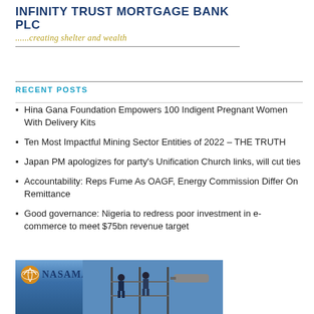[Figure (logo): Infinity Trust Mortgage Bank PLC logo with tagline '......creating shelter and wealth']
RECENT POSTS
Hina Gana Foundation Empowers 100 Indigent Pregnant Women With Delivery Kits
Ten Most Impactful Mining Sector Entities of 2022 – THE TRUTH
Japan PM apologizes for party's Unification Church links, will cut ties
Accountability: Reps Fume As OAGF, Energy Commission Differ On Remittance
Good governance: Nigeria to redress poor investment in e-commerce to meet $75bn revenue target
[Figure (photo): NASAMAN logo with workers on scaffolding in industrial setting]